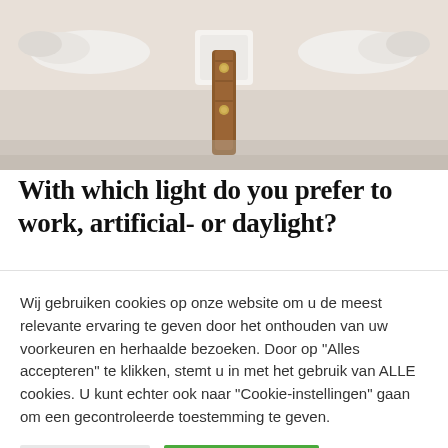[Figure (photo): Photo of ornate white decorative wall bracket/hook with brown leather strap hanging from it, against a light beige/white wall background.]
With which light do you prefer to work, artificial- or daylight?
Wij gebruiken cookies op onze website om u de meest relevante ervaring te geven door het onthouden van uw voorkeuren en herhaalde bezoeken. Door op "Alles accepteren" te klikken, stemt u in met het gebruik van ALLE cookies. U kunt echter ook naar "Cookie-instellingen" gaan om een gecontroleerde toestemming te geven.